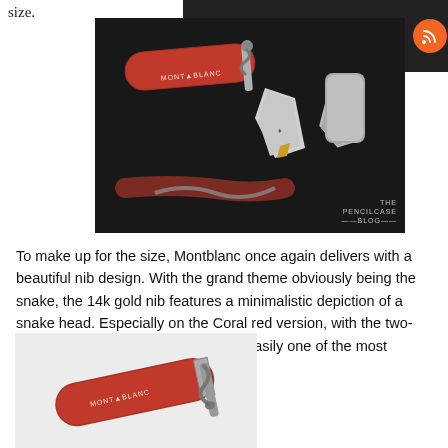size.
[Figure (photo): Close-up photo of Montblanc fountain pens (coral red) with snake clip design on dark background. Shows pen nibs including a two-tone nib. Watermark reads 'THE PENCILCASE BLOG'.]
To make up for the size, Montblanc once again delivers with a beautiful nib design. With the grand theme obviously being the snake, the 14k gold nib features a minimalistic depiction of a snake head. Especially on the Coral red version, with the two-tone nib, this design stands out. It's easily one of the most beautiful nibs I've come across.
[Figure (photo): Close-up photo of Montblanc coral red fountain pen cap with silver snake clip on grey background. Montblanc logo visible on pen.]